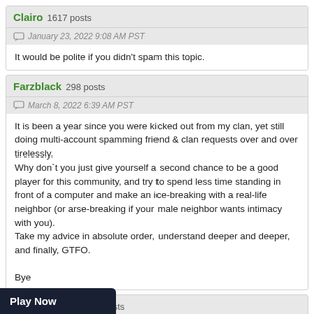Clairo  1617 posts
January 23, 2022 9:08 AM PST
It would be polite if you didn’t spam this topic.
Farzblack  298 posts
March 8, 2022 6:39 AM PST
It is been a year since you were kicked out from my clan, yet still doing multi-account spamming friend & clan requests over and over tirelessly.
Why don⁠`t you just give yourself a second chance to be a good player for this community, and try to spend less time standing in front of a computer and make an ice-breaking with a real-life neighbor (or arse-breaking if your male neighbor wants intimacy with you).
Take my advice in absolute order, understand deeper and deeper, and finally, GTFO.

Bye
OnlyHopeCRO  53 posts
March 31, 2022 10:35 AM PDT
id:
es since you were kicked out from my clan, yet still